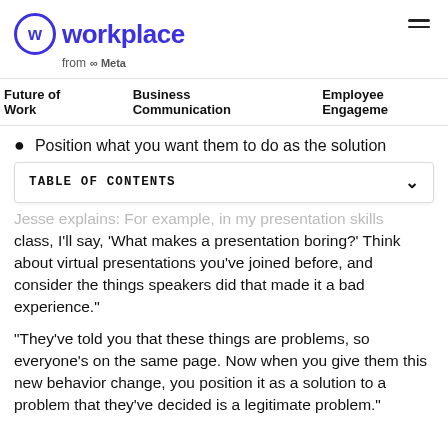Workplace from Meta
Future of Work    Business Communication    Employee Engagement
Position what you want them to do as the solution
TABLE OF CONTENTS
Jesse explains: 'For example, in my presentation skills class, I'll say, ‘What makes a presentation boring?’ Think about virtual presentations you’ve joined before, and consider the things speakers did that made it a bad experience.'
“They’ve told you that these things are problems, so everyone’s on the same page. Now when you give them this new behavior change, you position it as a solution to a problem that they’ve decided is a legitimate problem.”